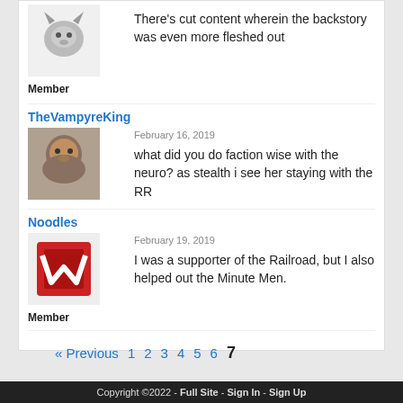There's cut content wherein the backstory was even more fleshed out
Member
TheVampyreKing
February 16, 2019
what did you do faction wise with the neuro? as stealth i see her staying with the RR
Noodles
February 19, 2019
I was a supporter of the Railroad, but I also helped out the Minute Men.
Member
« Previous  1  2  3  4  5  6  7
← Back to Topics
Copyright ©2022 - Full Site - Sign In - Sign Up